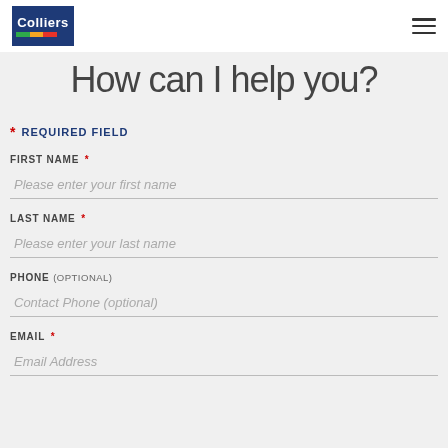Colliers [logo with navigation hamburger menu]
How can I help you?
* REQUIRED FIELD
FIRST NAME *
Please enter your first name
LAST NAME *
Please enter your last name
PHONE (OPTIONAL)
Contact Phone (optional)
EMAIL *
Email Address